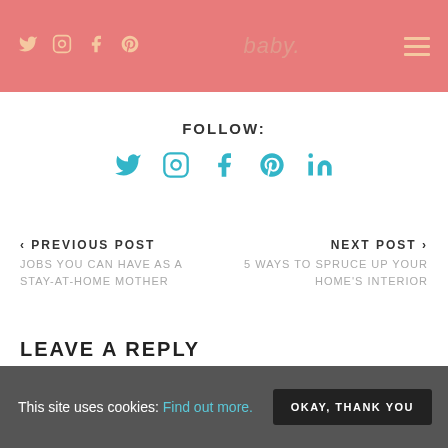baby. [social icons: twitter, instagram, facebook, pinterest, menu]
FOLLOW:
[Figure (infographic): Social media icons: Twitter, Instagram, Facebook, Pinterest, LinkedIn in teal/cyan color]
< PREVIOUS POST
JOBS YOU CAN HAVE AS A STAY-AT-HOME MOTHER
NEXT POST >
5 WAYS TO SPRUCE UP YOUR HOME'S INTERIOR
LEAVE A REPLY
Enter your comment here...
This site uses cookies: Find out more. OKAY, THANK YOU